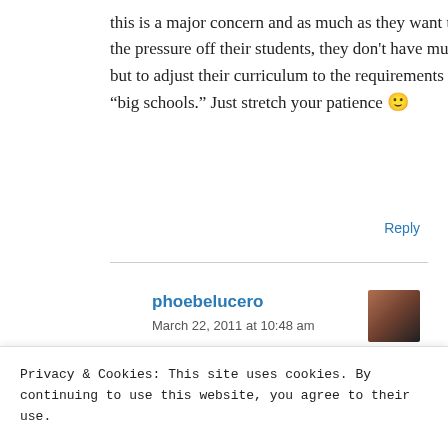this is a major concern and as much as they want to ease the pressure off their students, they don't have much choice but to adjust their curriculum to the requirements of the “big schools.” Just stretch your patience 🙂
Reply
phoebelucero
March 22, 2011 at 10:48 am
Privacy & Cookies: This site uses cookies. By continuing to use this website, you agree to their use.
To find out more, including how to control cookies, see here: Cookie Policy
Close and accept